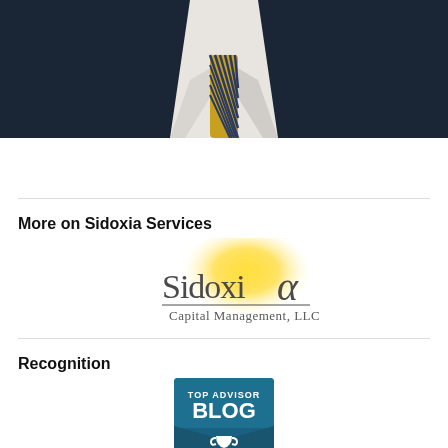[Figure (photo): Photo of a person in a dark suit and gold/blue patterned tie, cropped to show neck/chest area]
More on Sidoxia Services
[Figure (logo): Sidoxia Capital Management, LLC logo with yellow radial glow behind stylized text]
Recognition
[Figure (other): Top Advisor Blog badge with trophy icon on teal/dark blue background]